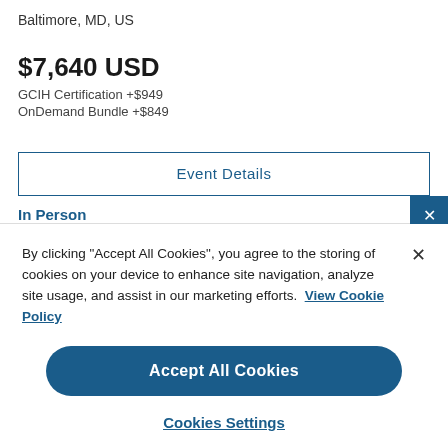Baltimore, MD, US
$7,640 USD
GCIH Certification +$949
OnDemand Bundle +$849
Event Details
In Person
By clicking "Accept All Cookies", you agree to the storing of cookies on your device to enhance site navigation, analyze site usage, and assist in our marketing efforts. View Cookie Policy
Accept All Cookies
Cookies Settings